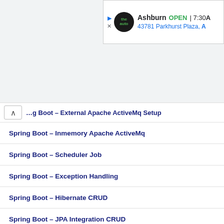[Figure (other): Advertisement banner showing auto parts store in Ashburn, OPEN 7:30, 43781 Parkhurst Plaza]
…g Boot – External Apache ActiveMq Setup
Spring Boot – Inmemory Apache ActiveMq
Spring Boot – Scheduler Job
Spring Boot – Exception Handling
Spring Boot – Hibernate CRUD
Spring Boot – JPA Integration CRUD
Spring Boot – JPA DataRest CRUD
Spring Boot – JdbcTemplate CRUD
Spring Boot – Multiple Data Sources Config
Spring Boot – JNDI Configuration
Spring Boot – H2 Database CRUD
Spring Boot – MongoDB CRUD